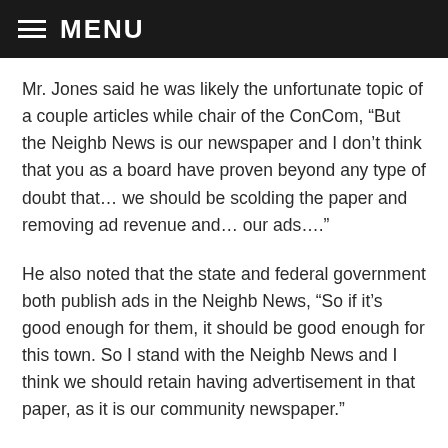MENU
Mr. Jones said he was likely the unfortunate topic of a couple articles while chair of the ConCom, “But the Neighb News is our newspaper and I don’t think that you as a board have proven beyond any type of doubt that… we should be scolding the paper and removing ad revenue and… our ads….”
He also noted that the state and federal government both publish ads in the Neighb News, “So if it’s good enough for them, it should be good enough for this town. So I stand with the Neighb News and I think we should retain having advertisement in that paper, as it is our community newspaper.”